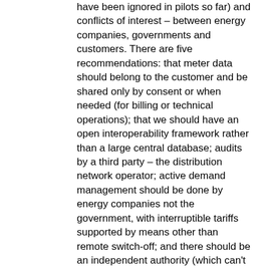have been ignored in pilots so far) and conflicts of interest – between energy companies, governments and customers. There are five recommendations: that meter data should belong to the customer and be shared only by consent or when needed (for billing or technical operations); that we should have an open interoperability framework rather than a large central database; audits by a third party – the distribution network operator; active demand management should be done by energy companies not the government, with interruptible tariffs supported by means other than remote switch-off; and there should be an independent authority (which can't be Ofgem if Ofgem continues to drive the smart grid project).